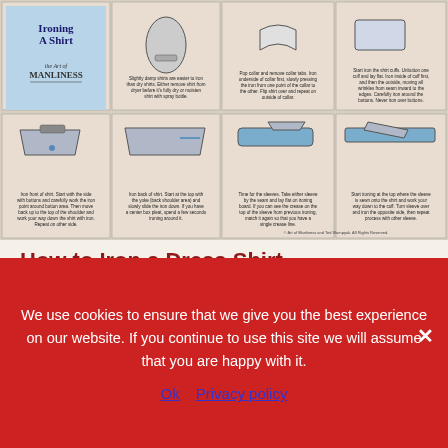[Figure (infographic): Art of Manliness illustrated instructional guide on 'Ironing A Shirt' showing 8 panels with drawings of ironing steps including collar, cuffs, front, back, and sleeves of a dress shirt.]
How to Iron a Dress Shirt
We use cookies to ensure that we give you the best experience on our website. If you continue to use this site we will assume that you are happy with it.
Ok   Privacy policy